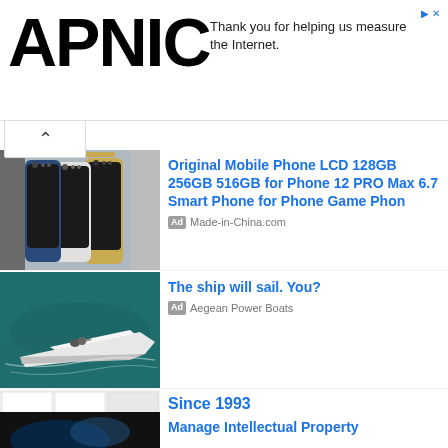[Figure (logo): APNIC logo in large bold black text]
Thank you for helping us measure the Internet.
[Figure (photo): Promotional ad image showing iPhone 12 Pro Max phones in multiple colors]
Original Mobile Phone LCD 128GB 256GB 516GB for Phone 12 PRO Max 6.7 Smart Phone for Phone Game Phon
Ad  Made-in-China.com
[Figure (photo): Aerial photo of a white speedboat on teal water]
The ship will sail. You?
Ad  Aegean Power Boats
[Figure (screenshot): Screenshot of medical document pages/brochures with diagrams and text]
Since 1993
Ad  Javin Medical
[Figure (photo): Dark background photo, partially visible, for Manage Intellectual Property ad]
Manage Intellectual Property